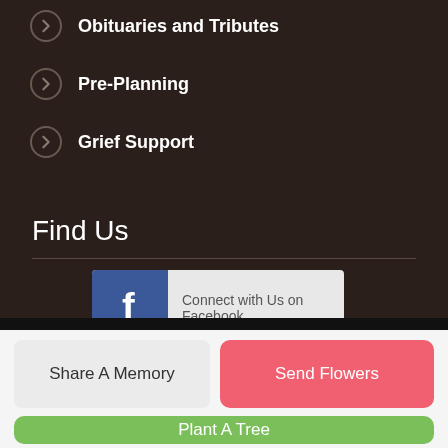Obituaries and Tributes
Pre-Planning
Grief Support
Find Us
[Figure (screenshot): Facebook Connect button with Facebook logo icon and text 'Connect with Us on Facebook']
Share A Memory
Send Flowers
Plant A Tree